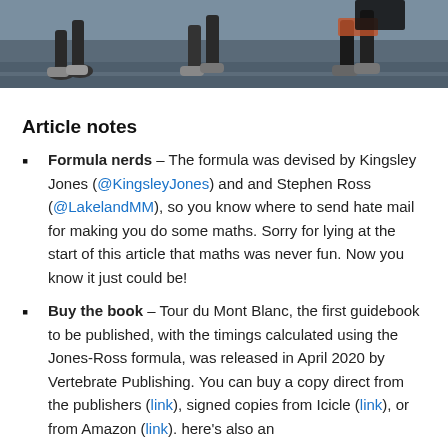[Figure (photo): Photo of runners' legs and feet mid-race on a road surface, partial view]
Article notes
Formula nerds – The formula was devised by Kingsley Jones (@KingsleyJones) and and Stephen Ross (@LakelandMM), so you know where to send hate mail for making you do some maths. Sorry for lying at the start of this article that maths was never fun. Now you know it just could be!
Buy the book – Tour du Mont Blanc, the first guidebook to be published, with the timings calculated using the Jones-Ross formula, was released in April 2020 by Vertebrate Publishing. You can buy a copy direct from the publishers (link), signed copies from Icicle (link), or from Amazon (link). here's also an